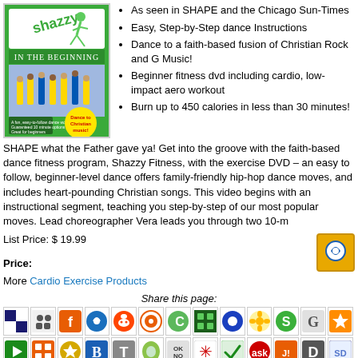[Figure (photo): Shazzy Fitness 'In The Beginning' DVD cover with green background, dancers, and 'Dance to Christian music!' badge]
As seen in SHAPE and the Chicago Sun-Times
Easy, Step-by-Step dance Instructions
Dance to a faith-based fusion of Christian Rock and G Music!
Beginner fitness dvd including cardio, low-impact aero workout
Burn up to 450 calories in less than 30 minutes!
SHAPE what the Father gave ya! Get into the groove with the faith-based dance fitness program, Shazzy Fitness, with the exercise DVD – an easy to follow, beginner-level dance offers family-friendly hip-hop dance moves, and includes heart-pounding Christian songs. This video begins with an instructional segment, teaching you step-by-step of our most popular moves. Lead choreographer Vera leads you through two 10-m
List Price: $ 19.99
Price:
More Cardio Exercise Products
Share this page:
[Figure (screenshot): Grid of social sharing icon buttons, two rows visible]